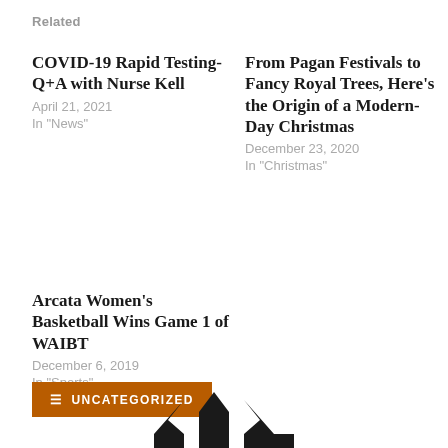Related
COVID-19 Rapid Testing-Q+A with Nurse Kell
April 21, 2021
In "News"
From Pagan Festivals to Fancy Royal Trees, Here’s the Origin of a Modern-Day Christmas
December 23, 2020
In "Christmas"
Arcata Women’s Basketball Wins Game 1 of WAIBT
December 6, 2019
In "Sports"
UNCATEGORIZED
[Figure (logo): Partial newspaper logo visible at bottom of page]